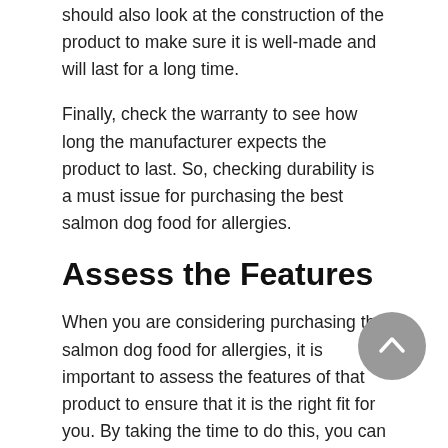should also look at the construction of the product to make sure it is well-made and will last for a long time.
Finally, check the warranty to see how long the manufacturer expects the product to last. So, checking durability is a must issue for purchasing the best salmon dog food for allergies.
Assess the Features
When you are considering purchasing the salmon dog food for allergies, it is important to assess the features of that product to ensure that it is the right fit for you. By taking the time to do this, you can avoid wasting your money on a product that does not meet your needs or expectations.
Final Word